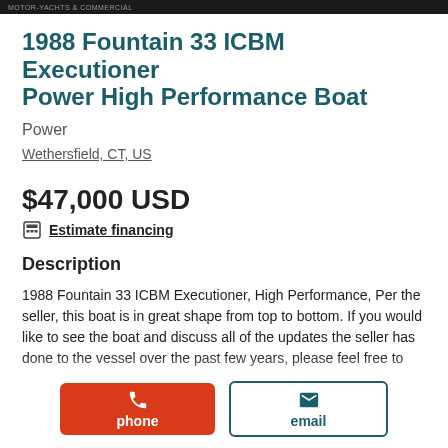XXXXXXXXXXXXXXXXXXXXXXXXXXXXXXXXXX
1988 Fountain 33 ICBM Executioner Power High Performance Boat
Power
Wethersfield, CT, US
$47,000 USD
Estimate financing
Description
1988 Fountain 33 ICBM Executioner, High Performance, Per the seller, this boat is in great shape from top to bottom. If you would like to see the boat and discuss all of the updates the seller has done to the vessel over the past few years, please feel free to make...